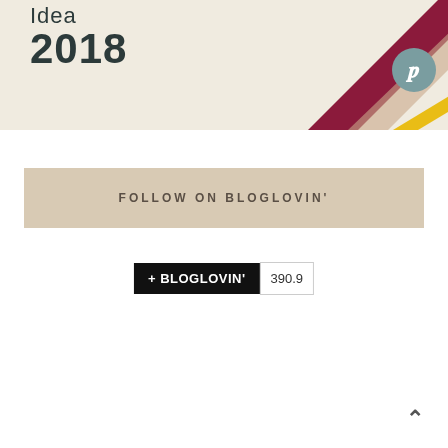[Figure (screenshot): Website banner showing 'Idea 2018' text with diagonal colored stripes (crimson, tan, yellow) and a Pinterest circle icon, plus a hamburger menu icon at top center]
FOLLOW ON BLOGLOVIN'
[Figure (screenshot): Bloglovin follow button showing '+ BLOGLOVIN'' in black and follower count '390.9']
^